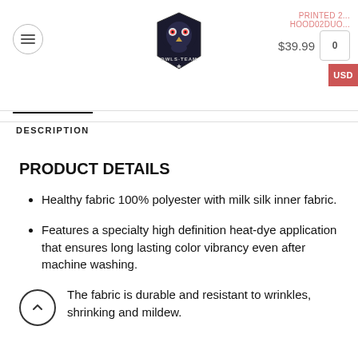[Figure (logo): Owls-Team logo: stylized owl mascot with armor and shield, text OWLS-TEAM]
PRINTED 2... HOOD02DUO... $39.99
DESCRIPTION
PRODUCT DETAILS
Healthy fabric 100% polyester with milk silk inner fabric.
Features a specialty high definition heat-dye application that ensures long lasting color vibrancy even after machine washing.
The fabric is durable and resistant to wrinkles, shrinking and mildew.